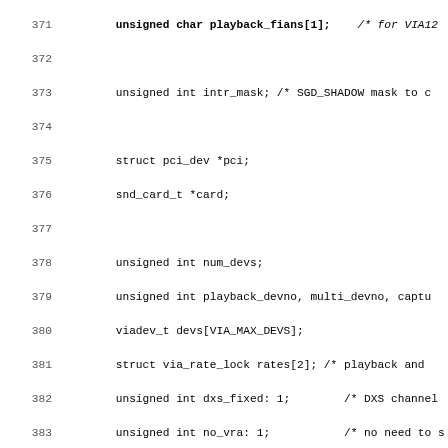[Figure (screenshot): Source code listing (C code) showing lines 371-403 of a file related to VIA 82xx sound driver. Lines include struct member declarations such as unsigned int intr_mask, struct pci_dev *pci, snd_card_t *card, unsigned int num_devs, playback_devno, multi_devno, captu, viadev_t devs[VIA_MAX_DEVS], struct via_rate_lock rates[2], unsigned int dxs_fixed, no_vra, dxs_src, spdif_on, snd_pcm_t *pcms[2], snd_rawmidi_t *rmidi, ac97_bus_t *ac97_bus, ac97_t *ac97, unsigned int ac97_clock, ac97_secondary, spinlock_t reg_lock, snd_info_entry_t *proc_entry, #ifdef SUPPORT_JOYSTICK, struct gameport *gameport, #endif, };, static struct pci_device_id snd_via82xx_ids[] = {]